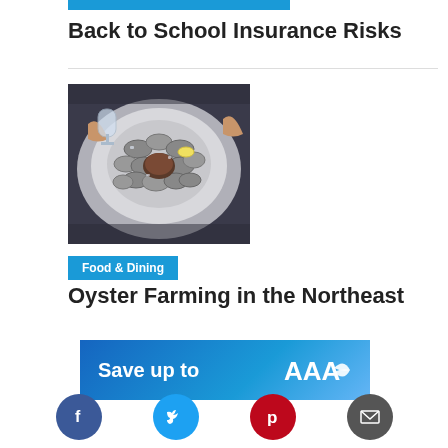[Figure (other): Blue horizontal bar accent at top of article card]
Back to School Insurance Risks
[Figure (photo): Overhead photo of a large platter of oysters on the half shell with drinks, hands visible around the platter on a marble surface]
Food & Dining
Oyster Farming in the Northeast
[Figure (other): Blue advertisement banner reading 'Save up to' with AAA logo on the right]
[Figure (other): Social media share buttons row: Facebook (blue), Twitter (cyan), Pinterest (red), Email (dark grey)]